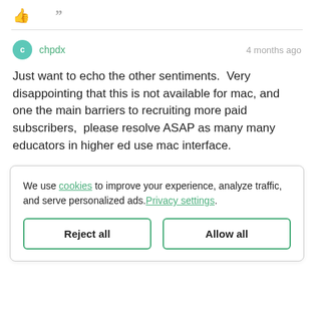[Figure (other): Thumbs up icon and quotation mark icon in gray]
chpdx
4 months ago
Just want to echo the other sentiments.  Very disappointing that this is not available for mac, and one the main barriers to recruiting more paid subscribers,  please resolve ASAP as many many educators in higher ed use mac interface.
We use cookies to improve your experience, analyze traffic, and serve personalized ads. Privacy settings.
Reject all
Allow all